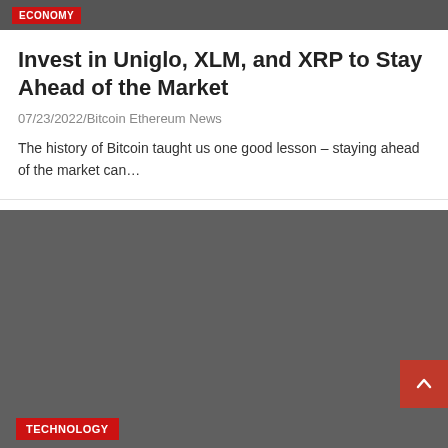ECONOMY
Invest in Uniglo, XLM, and XRP to Stay Ahead of the Market
07/23/2022/Bitcoin Ethereum News
The history of Bitcoin taught us one good lesson – staying ahead of the market can…
[Figure (photo): Dark grey image block with a TECHNOLOGY category badge at the bottom left and a scroll-to-top button at the bottom right]
TECHNOLOGY